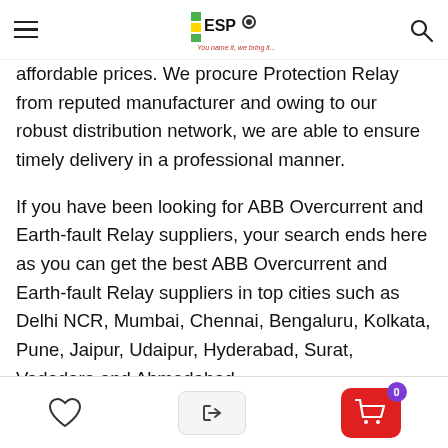ESP — You name it, we bring it...
affordable prices. We procure Protection Relay from reputed manufacturer and owing to our robust distribution network, we are able to ensure timely delivery in a professional manner.
If you have been looking for ABB Overcurrent and Earth-fault Relay suppliers, your search ends here as you can get the best ABB Overcurrent and Earth-fault Relay suppliers in top cities such as Delhi NCR, Mumbai, Chennai, Bengaluru, Kolkata, Pune, Jaipur, Udaipur, Hyderabad, Surat, Vadodara and Ahmedabad.
You can purchase ABB Overcurrent and Earth-fault Relay of